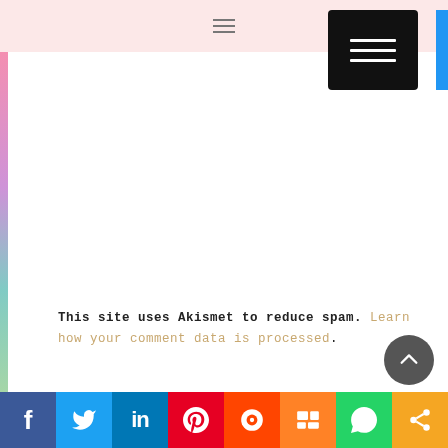[Figure (screenshot): Black hamburger menu button in top-right corner of a website navigation bar]
This site uses Akismet to reduce spam. Learn how your comment data is processed.
[Figure (infographic): Social media share bar with icons: Facebook, Twitter, LinkedIn, Pinterest, Reddit, Mix, WhatsApp, Share]